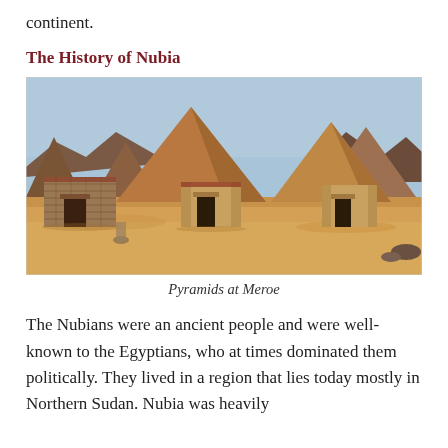continent.
The History of Nubia
[Figure (photo): Photograph of the Pyramids at Meroe, Sudan — multiple steep-sided sandstone pyramids rising from desert sand with small temple entrance structures at their bases, under a blue sky.]
Pyramids at Meroe
The Nubians were an ancient people and were well-known to the Egyptians, who at times dominated them politically. They lived in a region that lies today mostly in Northern Sudan. Nubia was heavily influenced by Egyptian culture, and the two civilizations...